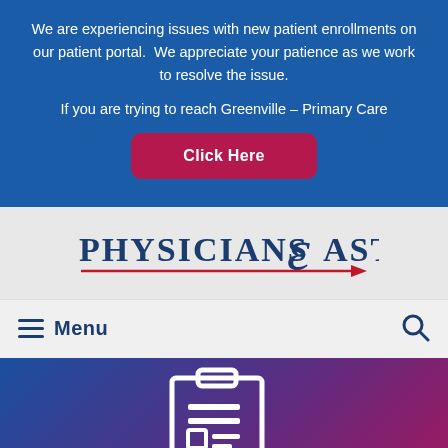We are experiencing issues with new patient enrollments on our patient portal. We appreciate your patience as we work to resolve the issue.
If you are trying to reach Greenville – Primary Care
Click Here
[Figure (logo): Physicians East logo with stylized 'E' and arrow]
≡ Menu
[Figure (infographic): Hero banner with gradient background (blue to purple to pink/red) showing a clipboard/patient record icon in white outline]